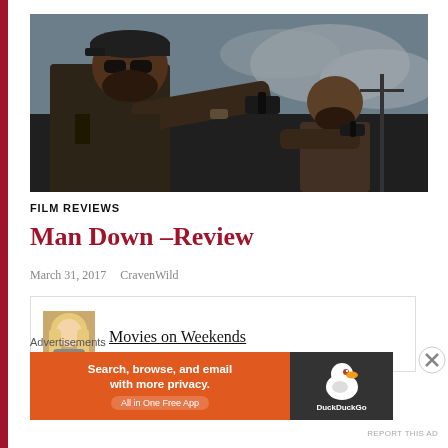[Figure (photo): Two armed men pointing guns at the camera in a dark, gritty outdoor scene. The man on the left wears sunglasses and a cap, the man on the right is in the background. Movie still from 'Man Down'.]
FILM REVIEWS
Man Down –Review
March 31, 2017   CravenWild
[Figure (illustration): Comment box with blonde avatar thumbnail and 'Movies on Weekends' channel link underlined]
Advertisements
[Figure (screenshot): DuckDuckGo advertisement banner: orange left section reading 'Search, browse, and email with more privacy. All in One Free App', dark right section with DuckDuckGo duck logo and text 'DuckDuckGo']